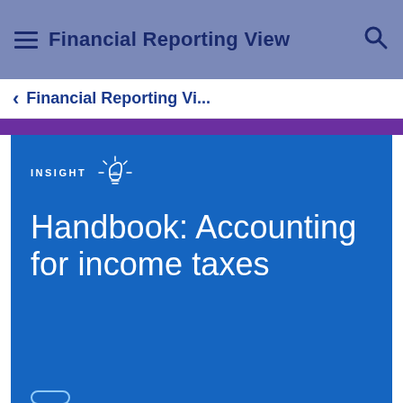Financial Reporting View
Financial Reporting Vi...
INSIGHT
Handbook: Accounting for income taxes